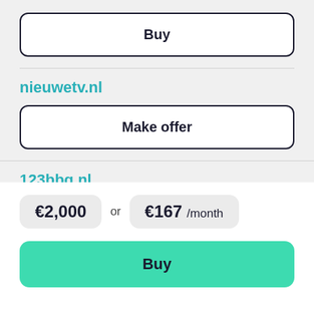Buy
nieuwetv.nl
Make offer
123bbq.nl
€1,500 or €125 /month
€2,000 or €167 /month
Buy